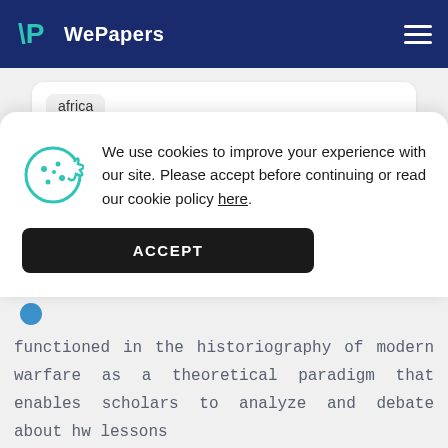WePapers
africa
Good Example Of The Impact Of Napoleon
We use cookies to improve your experience with our site. Please accept before continuing or read our cookie policy here.
ACCEPT
The Revolutions In Military Affairs (RMA) functioned in the historiography of modern warfare as a theoretical paradigm that enables scholars to analyze and debate about hw lessons